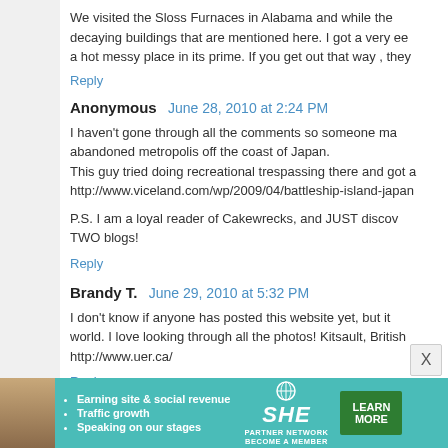We visited the Sloss Furnaces in Alabama and while the decaying buildings that are mentioned here. I got a very ee a hot messy place in its prime. If you get out that way , they
Reply
Anonymous  June 28, 2010 at 2:24 PM
I haven't gone through all the comments so someone ma abandoned metropolis off the coast of Japan.
This guy tried doing recreational trespassing there and got a http://www.viceland.com/wp/2009/04/battleship-island-japan

P.S. I am a loyal reader of Cakewrecks, and JUST discov TWO blogs!
Reply
Brandy T.  June 29, 2010 at 5:32 PM
I don't know if anyone has posted this website yet, but it world. I love looking through all the photos! Kitsault, British http://www.uer.ca/
Reply
[Figure (infographic): SHE Partner Network advertisement banner with teal background, woman photo, bullet points about earning site & social revenue, traffic growth, speaking on our stages, SHE logo, and LEARN MORE green button]